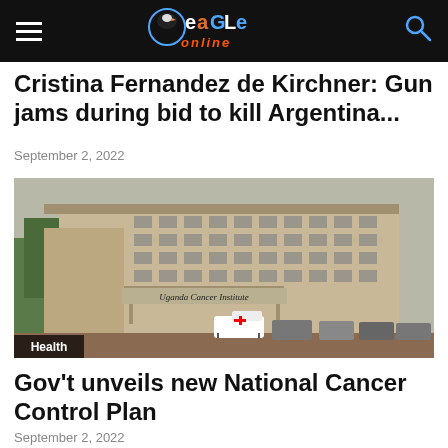Eagle Online
Cristina Fernandez de Kirchner: Gun jams during bid to kill Argentina...
September 2, 2022
[Figure (photo): Photo of the Uganda Cancer Institute building exterior with vehicles parked outside and a 'Health' category badge in the lower left corner.]
Gov't unveils new National Cancer Control Plan
September 2, 2022